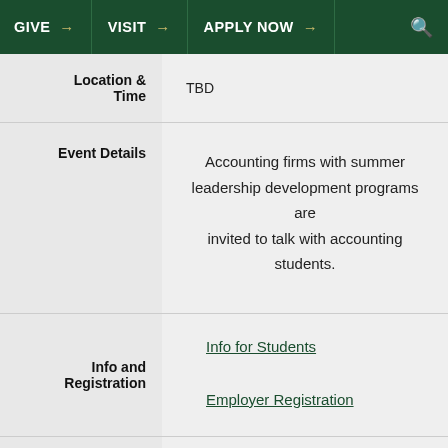GIVE → VISIT → APPLY NOW → 🔍
| Field | Value |
| --- | --- |
| Location & Time | TBD |
| Event Details | Accounting firms with summer leadership development programs are invited to talk with accounting students. |
| Info and Registration | Info for Students
Employer Registration |
| Date | TBD |
| Career Fair | Spring Nursing Recruitment Fair |